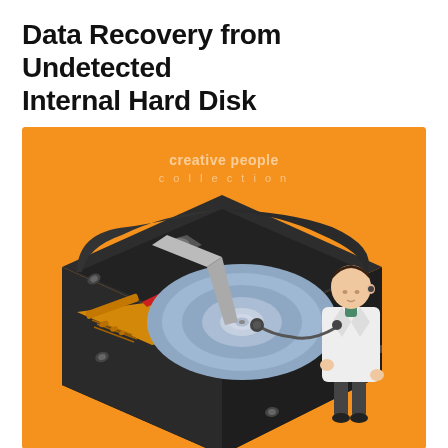Data Recovery from Undetected Internal Hard Disk
[Figure (illustration): Isometric illustration of an open internal hard disk drive with a doctor/technician in a white lab coat using a stethoscope to examine the disk platter. The background is orange. A watermark reads 'creative people collection'.]